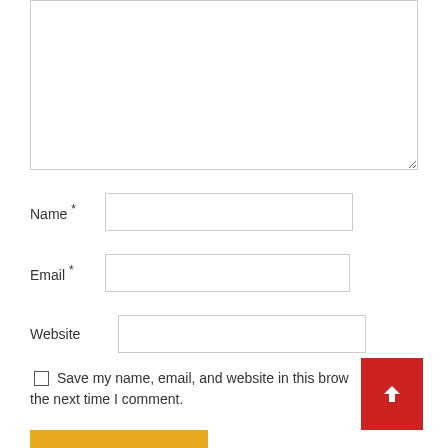[Figure (screenshot): A web comment form with a textarea, Name, Email, Website input fields, a save checkbox, a red scroll-to-top button, and a yellow submit button.]
Name *
Email *
Website
Save my name, email, and website in this browser for the next time I comment.